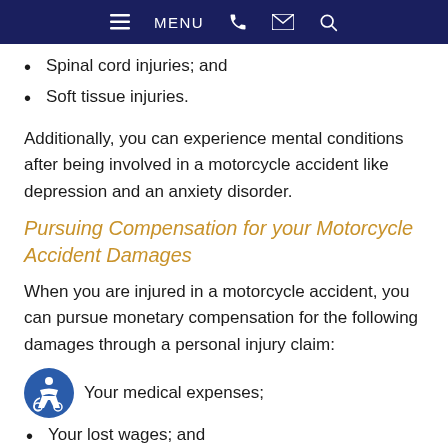MENU
Spinal cord injuries; and
Soft tissue injuries.
Additionally, you can experience mental conditions after being involved in a motorcycle accident like depression and an anxiety disorder.
Pursuing Compensation for your Motorcycle Accident Damages
When you are injured in a motorcycle accident, you can pursue monetary compensation for the following damages through a personal injury claim:
Your medical expenses;
Your lost wages; and
Your pain and suffering damages.